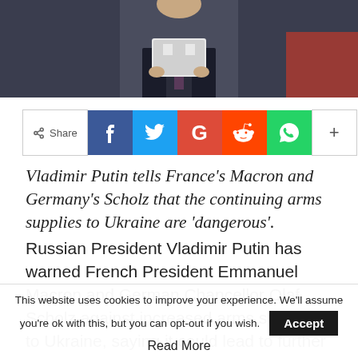[Figure (photo): A man in a dark suit holding a white tablet/folder, photographed from chest up against a dark background.]
< Share  f  Twitter  G  Reddit  WhatsApp  +
Vladimir Putin tells France's Macron and Germany's Scholz that the continuing arms supplies to Ukraine are 'dangerous'.
Russian President Vladimir Putin has warned French President Emmanuel Macron and German Chancellor Olaf Scholz against increased arms supplies to Ukraine, saying it could lead to further
This website uses cookies to improve your experience. We'll assume you're ok with this, but you can opt-out if you wish.  Accept
Read More